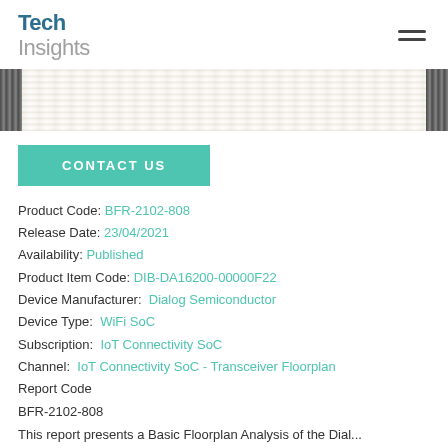TechInsights
[Figure (photo): Close-up photo of a hardware device/circuit board with beige/tan mesh-like surface and dark edge panels on left and right sides]
CONTACT US
Product Code: BFR-2102-808
Release Date: 23/04/2021
Availability: Published
Product Item Code: DIB-DA16200-00000F22
Device Manufacturer: Dialog Semiconductor
Device Type: WiFi SoC
Subscription: IoT Connectivity SoC
Channel: IoT Connectivity SoC - Transceiver Floorplan
Report Code
BFR-2102-808
This report presents a Basic Floorplan Analysis of the Dial...